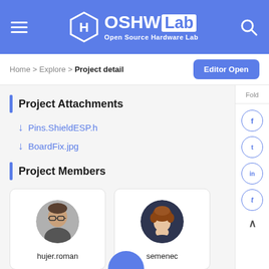OSHW Lab - Open Source Hardware Lab
Home > Explore > Project detail
Project Attachments
↓ Pins.ShieldESP.h
↓ BoardFix.jpg
Project Members
[Figure (photo): Member avatar for hujer.roman - circular profile photo of a man]
hujer.roman
[Figure (illustration): Member avatar for semenec - illustrated person silhouette with brown hair on dark background]
semenec